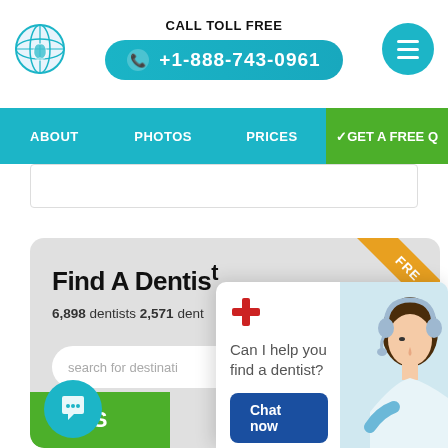[Figure (screenshot): Dental website screenshot showing header with globe logo, toll-free phone number +1-888-743-0961, hamburger menu, navigation bar with ABOUT, PHOTOS, PRICES, GET A FREE QUOTE, Find A Dentist search widget, chat popup saying Can I help you find a dentist? with Chat now button]
CALL TOLL FREE +1-888-743-0961
ABOUT   PHOTOS   PRICES   ✓GET A FREE Q
Find A Dentist
6,898 dentists 2,571 dent
search for destinati
Can I help you find a dentist?
Chat now